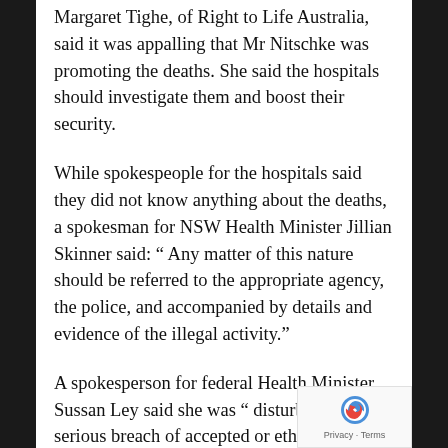Margaret Tighe, of Right to Life Australia, said it was appalling that Mr Nitschke was promoting the deaths. She said the hospitals should investigate them and boost their security.
While spokespeople for the hospitals said they did not know anything about the deaths, a spokesman for NSW Health Minister Jillian Skinner said: “ Any matter of this nature should be referred to the appropriate agency, the police, and accompanied by details and evidence of the illegal activity.”
A spokesperson for federal Health Minister Sussan Ley said she was “ disturbed by any serious breach of accepted or ethical medical standards and this certainly falls into that category” .